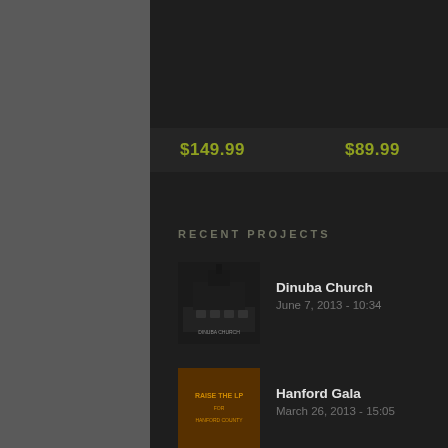$149.99
$89.99
RECENT PROJECTS
Dinuba Church
June 7, 2013 - 10:34
Hanford Gala
March 26, 2013 - 15:05
CCC Women's Retreat at Tenaya Lodge
March 29, 2013 - 15:09
RECENT BLOG POSTS
MTM is hosting the CCC 2015 Prayer Partners Weekend Audio Recordings